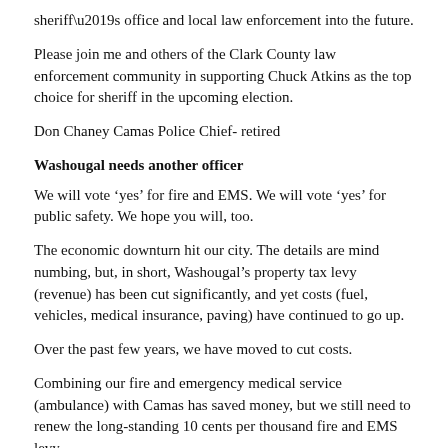sheriff’s office and local law enforcement into the future.
Please join me and others of the Clark County law enforcement community in supporting Chuck Atkins as the top choice for sheriff in the upcoming election.
Don Chaney Camas Police Chief- retired
Washougal needs another officer
We will vote ‘yes’ for fire and EMS. We will vote ‘yes’ for public safety. We hope you will, too.
The economic downturn hit our city. The details are mind numbing, but, in short, Washougal’s property tax levy (revenue) has been cut significantly, and yet costs (fuel, vehicles, medical insurance, paving) have continued to go up.
Over the past few years, we have moved to cut costs.
Combining our fire and emergency medical service (ambulance) with Camas has saved money, but we still need to renew the long-standing 10 cents per thousand fire and EMS levy.
We have held vacant, one, and sometimes two, police positions. Our cops handle vastly more calls per officer than any other department in Clark County.